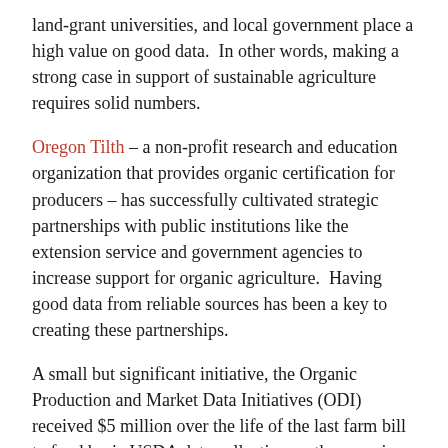land-grant universities, and local government place a high value on good data.  In other words, making a strong case in support of sustainable agriculture requires solid numbers.
Oregon Tilth – a non-profit research and education organization that provides organic certification for producers – has successfully cultivated strategic partnerships with public institutions like the extension service and government agencies to increase support for organic agriculture.  Having good data from reliable sources has been a key to creating these partnerships.
A small but significant initiative, the Organic Production and Market Data Initiatives (ODI) received $5 million over the life of the last farm bill to fund basic USDA data collection on the organic sector.  USDA's Economic Research Service (ERS), National Agricultural Statistics Service (NASS), and Agricultural Marketing Service (AMS) all collaborate on this data collection initiative.
In February 2010, NASS released the results of the Organic